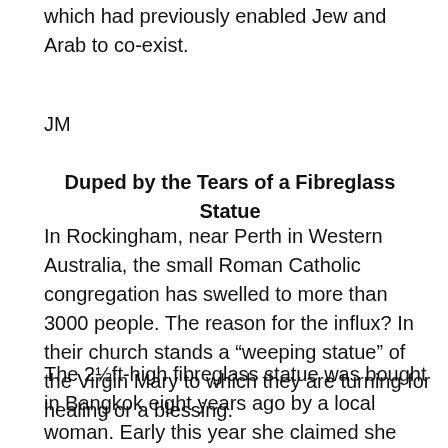which had previously enabled Jew and Arab to co-exist.
JM
Duped by the Tears of a Fibreglass Statue
In Rockingham, near Perth in Western Australia, the small Roman Catholic congregation has swelled to more than 3000 people. The reason for the influx? In their church stands a “weeping statue” of the Virgin Mary to which they are turning for healing or a blessing.
The 2½ft-high fibreglass statue was bought in Bangkok eight years ago by a local woman. Early this year she claimed she saw tears, oily and smelling of roses, flowing from the eyes of the statue. When the local “Catholic newspaper” reported the “phenomenon”, the woman was inundated with sick people seeking help from the statue.